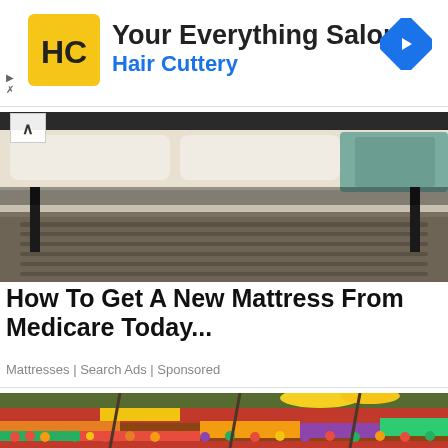[Figure (logo): Hair Cuttery advertisement banner with yellow HC logo, text 'Your Everything Salon' and 'Hair Cuttery', and a blue navigation arrow icon on the right]
[Figure (photo): Photo of a bed with grey upholstered headboard, white bedding, and a teal throw blanket on a dark carpet floor]
How To Get A New Mattress From Medicare Today...
Mattresses | Search Ads | Sponsored
[Figure (photo): Photo of a colorful grocery store produce section with rows of fresh fruits and vegetables including bananas, tomatoes, citrus fruits, grapes, and melons]